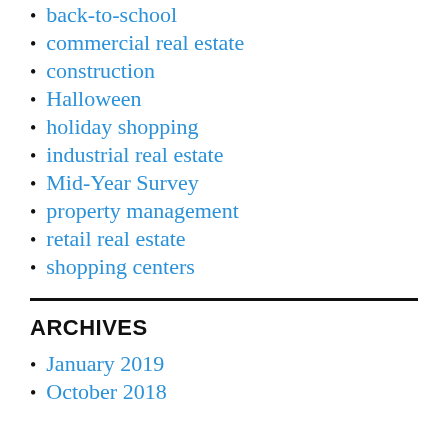back-to-school
commercial real estate
construction
Halloween
holiday shopping
industrial real estate
Mid-Year Survey
property management
retail real estate
shopping centers
ARCHIVES
January 2019
October 2018